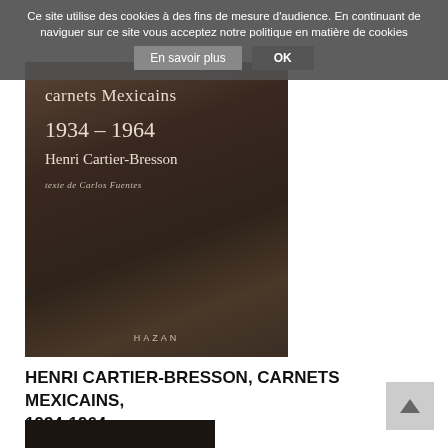Ce site utilise des cookies à des fins de mesure d'audience. En continuant de naviguer sur ce site vous acceptez notre politique en matière de cookies
[Figure (photo): Book cover of 'Carnets Mexicains 1934-1964' by Henri Cartier-Bresson, with handwritten title text and 'texte de Carlos Fuentes', published by Hazan. Sepia-toned photograph of a stone sculpture face in the background.]
HENRI CARTIER-BRESSON, CARNETS MEXICAINS, 1934-1964